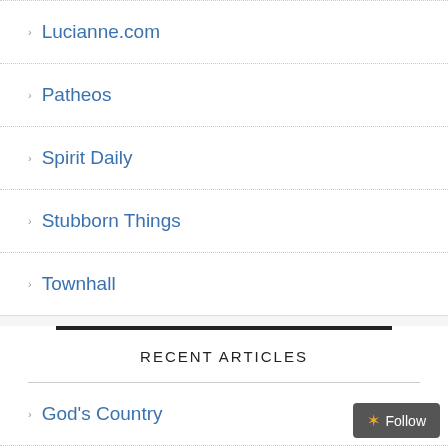Lucianne.com
Patheos
Spirit Daily
Stubborn Things
Townhall
RECENT ARTICLES
God's Country
Immoral and Un-American